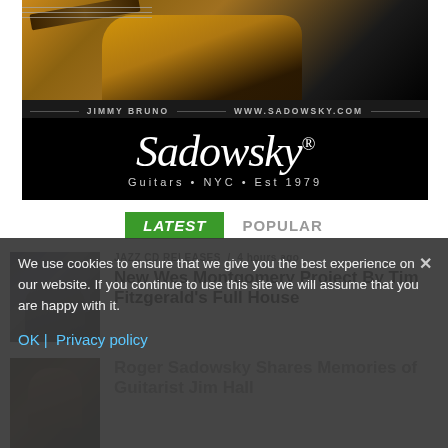[Figure (photo): Sadowsky Guitars advertisement featuring Jimmy Bruno playing guitar, with Sadowsky logo and 'Guitars • NYC • Est 1979' tagline. Website www.sadowsky.com shown.]
LATEST   POPULAR
JAZZ CD RELEASES / 4 hours ago
New Wes Montgomery Project By Tim Fitzgerald's Full House
[Figure (photo): Thumbnail photo of musician in studio setting]
Roger Sadowsky Shares Memories of Guitarist Jim Hall
[Figure (photo): Thumbnail photo for Roger Sadowsky article]
We use cookies to ensure that we give you the best experience on our website. If you continue to use this site we will assume that you are happy with it.
OK |  Privacy policy